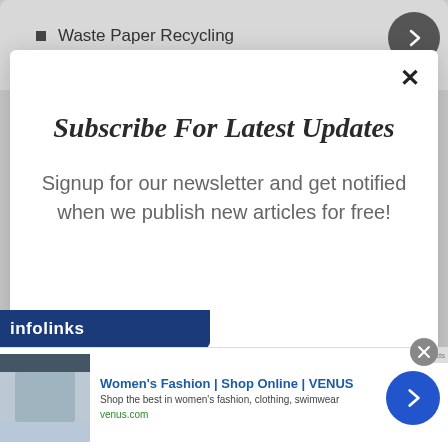Waste Paper Recycling
Subscribe For Latest Updates
Signup for our newsletter and get notified when we publish new articles for free!
[Figure (screenshot): Infolinks advertisement bar with Women's Fashion Shop Online VENUS ad showing website screenshot, headline, description and forward arrow button]